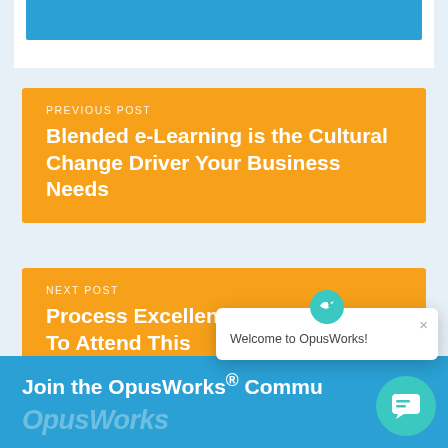[Figure (screenshot): Top blue banner bar from previous section]
PREVIOUS POST
Blended e-Learning is the Cultural Change Driver Your Business Needs
NEXT POST
Process Excellence Conferences To Attend This
Welcome to OpusWorks!
Join the OpusWorks® Commu